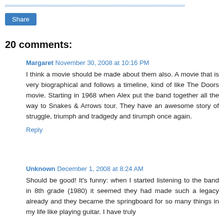Posted: [dotted link text]
Share
20 comments:
Margaret November 30, 2008 at 10:16 PM
I think a movie should be made about them also. A movie that is very biographical and follows a timeline, kind of like The Doors movie. Starting in 1968 when Alex put the band together all the way to Snakes & Arrows tour. They have an awesome story of struggle, triumph and tradgedy and tirumph once again.
Reply
Unknown December 1, 2008 at 8:24 AM
Should be good! It's funny: when I started listening to the band in 8th grade (1980) it seemed they had made such a legacy already and they became the springboard for so many things in my life like playing guitar. I have truly